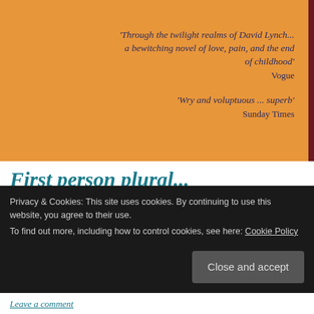[Figure (photo): Book cover image with orange background showing two italic quotes in dark blue text. Quote 1: 'Through the twilight realms of David Lynch... a bewitching novel of love, pain, and the end of childhood' – Vogue. Quote 2: 'Wry and voluptuous ... superb' – Sunday Times. A dark red vertical bar on the right edge.]
First person plural...
Posted on April 25, 2015
This post was edited and republished into my blog's original timeline from my lost posts archive. The Virgin Suicides by Jeffrey Eugenides Two things prompted me to promote this novel, which had been in my bedside TBR bookcase for ages, to
Privacy & Cookies: This site uses cookies. By continuing to use this website, you agree to their use.
To find out more, including how to control cookies, see here: Cookie Policy
Close and accept
Leave a comment